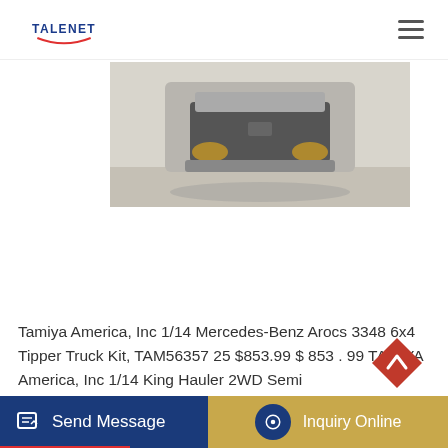TALENET
[Figure (photo): Front view of a silver Mercedes-Benz Arocs heavy duty truck, photographed head-on in an outdoor setting.]
Tamiya America, Inc 1/14 Mercedes-Benz Arocs 3348 6x4 Tipper Truck Kit, TAM56357 25 $853.99 $ 853 . 99 TAMIYA America, Inc 1/14 King Hauler 2WD Semi
Send Message
Inquiry Online